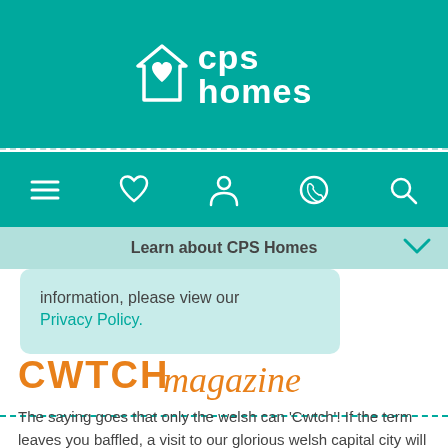[Figure (logo): CPS Homes logo with house/heart icon and white text on teal background]
[Figure (other): Navigation bar with hamburger menu, heart, person, phone, and search icons on teal background]
Learn about CPS Homes
information, please view our Privacy Policy.
CWTCH magazine
The saying goes that only the welsh can 'Cwtch'! If the term leaves you baffled, a visit to our glorious welsh capital city will